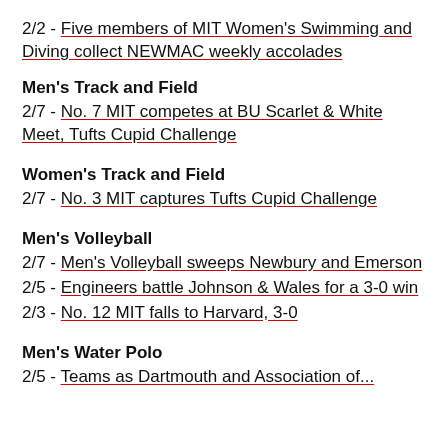2/2 - Five members of MIT Women's Swimming and Diving collect NEWMAC weekly accolades
Men's Track and Field
2/7 - No. 7 MIT competes at BU Scarlet & White Meet, Tufts Cupid Challenge
Women's Track and Field
2/7 - No. 3 MIT captures Tufts Cupid Challenge
Men's Volleyball
2/7 - Men's Volleyball sweeps Newbury and Emerson
2/5 - Engineers battle Johnson & Wales for a 3-0 win
2/3 - No. 12 MIT falls to Harvard, 3-0
Men's Water Polo
2/5 - Teams as Dartmouth and Association of...